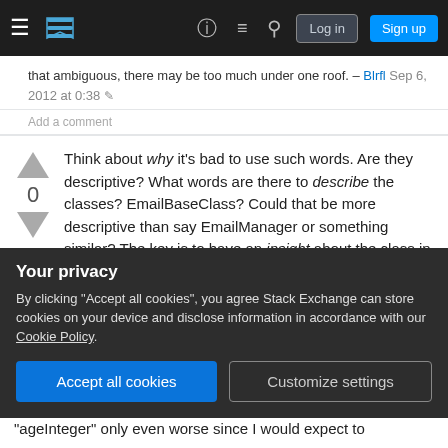Stack Exchange navigation bar with hamburger menu, logo, help, chat, search icons, Log in and Sign up buttons
that ambiguous, there may be too much under one roof. – Blrfl Sep 6, 2012 at 0:38
Add a comment
Think about why it's bad to use such words. Are they descriptive? What words are there to describe the classes? EmailBaseClass? Could that be more descriptive than say EmailManager or something similar? The key is to have an insight about the class in question, so find proper verbs or nouns. Treat your code like it was poetry.
By clicking "Accept all cookies", you agree Stack Exchange can store cookies on your device and disclose information in accordance with our Cookie Policy.
"ageInteger" only even worse since I would expect to